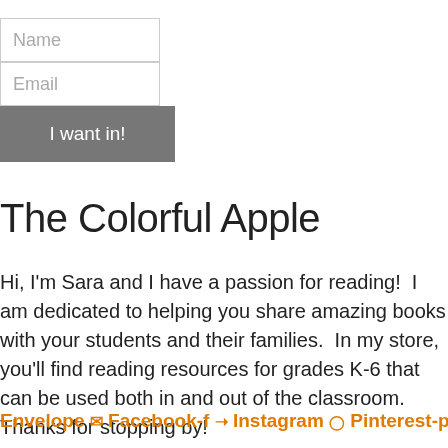[Figure (other): Email signup form with Name field, Email field, and 'I want in!' button]
The Colorful Apple
Hi, I'm Sara and I have a passion for reading!  I am dedicated to helping you share amazing books with your students and their families.  In my store, you'll find reading resources for grades K-6 that can be used both in and out of the classroom.  Thanks for stopping by!
Envelope ✉ Facebook-f  Instagram  Pinterest-p  Find What You Need...